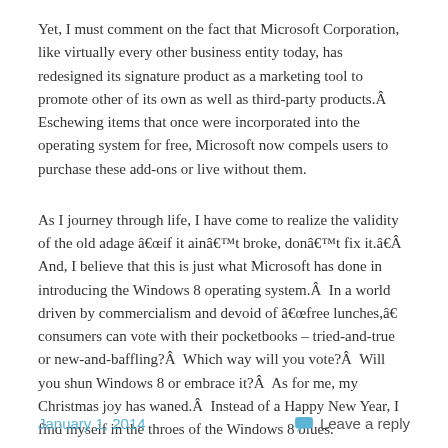Yet, I must comment on the fact that Microsoft Corporation, like virtually every other business entity today, has redesigned its signature product as a marketing tool to promote other of its own as well as third-party products.Â  Eschewing items that once were incorporated into the operating system for free, Microsoft now compels users to purchase these add-ons or live without them.
As I journey through life, I have come to realize the validity of the old adage â€œif it ainâ€™t broke, donâ€™t fix it.â€Â  And, I believe that this is just what Microsoft has done in introducing the Windows 8 operating system.Â  In a world driven by commercialism and devoid of â€œfree lunches,â€ consumers can vote with their pocketbooks – tried-and-true or new-and-baffling?Â  Which way will you vote?Â  Will you shun Windows 8 or embrace it?Â  As for me, my Christmas joy has waned.Â  Instead of a Happy New Year, I find myself in the throes of the Windows 8 blues.
January 1, 2014    Leave a reply